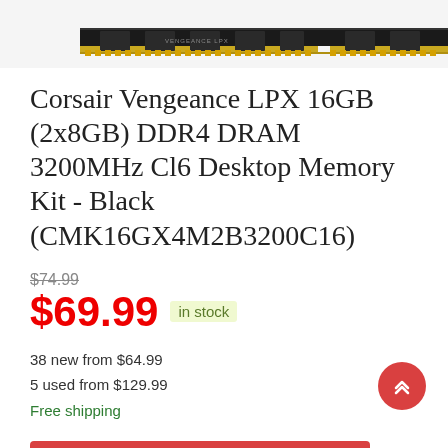[Figure (photo): Close-up of a Corsair Vengeance LPX DDR4 RAM stick, black PCB with gold contacts, viewed from top, cropped at top of page.]
Corsair Vengeance LPX 16GB (2x8GB) DDR4 DRAM 3200MHz Cl6 Desktop Memory Kit - Black (CMK16GX4M2B3200C16)
$74.99
$69.99 in stock
38 new from $64.99
5 used from $129.99
Free shipping
BUY NOW